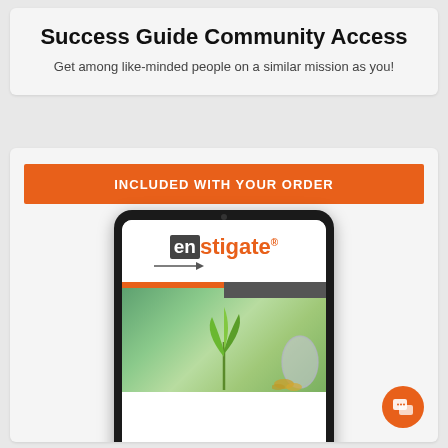Success Guide Community Access
Get among like-minded people on a similar mission as you!
INCLUDED WITH YOUR ORDER
[Figure (screenshot): Tablet device displaying the Enstigate logo and a plant growing from coins photo, representing a success guide ebook or community product.]